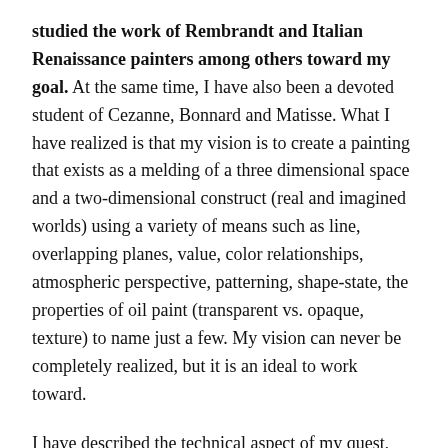studied the work of Rembrandt and Italian Renaissance painters among others toward my goal. At the same time, I have also been a devoted student of Cezanne, Bonnard and Matisse. What I have realized is that my vision is to create a painting that exists as a melding of a three dimensional space and a two-dimensional construct (real and imagined worlds) using a variety of means such as line, overlapping planes, value, color relationships, atmospheric perspective, patterning, shape-state, the properties of oil paint (transparent vs. opaque, texture) to name just a few. My vision can never be completely realized, but it is an ideal to work toward.
I have described the technical aspect of my quest, but not my motive. Life is wonderful and joyous and tragic and an epic battle for survival. We live our daily lives from one moment to the next; experience a myriad of pleasures and struggles, ups and downs, usually without much reflection or even noticing how we are feeling. But make no hesitation: from moment